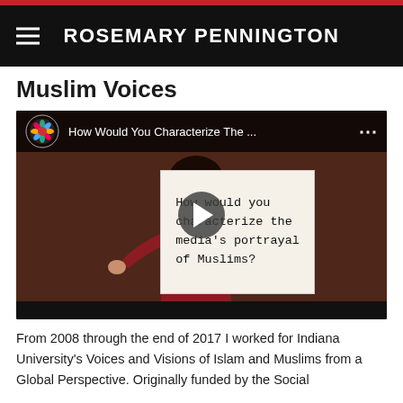ROSEMARY PENNINGTON
Muslim Voices
[Figure (screenshot): Embedded YouTube video thumbnail showing a woman holding a sign that reads 'How would you characterize the media's portrayal of Muslims?' with a play button overlay. Video title bar reads 'How Would You Characterize The ...']
From 2008 through the end of 2017 I worked for Indiana University's Voices and Visions of Islam and Muslims from a Global Perspective. Originally funded by the Social